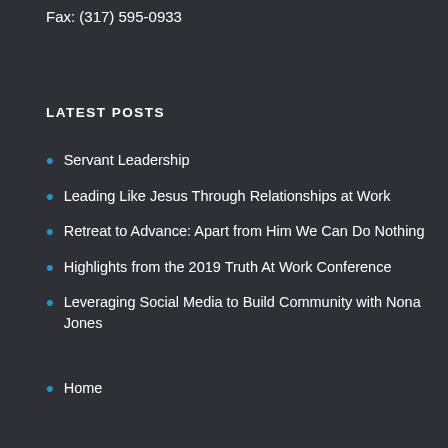Fax: (317) 595-0933
LATEST POSTS
Servant Leadership
Leading Like Jesus Through Relationships at Work
Retreat to Advance: Apart from Him We Can Do Nothing
Highlights from the 2019 Truth At Work Conference
Leveraging Social Media to Build Community with Nona Jones
Home